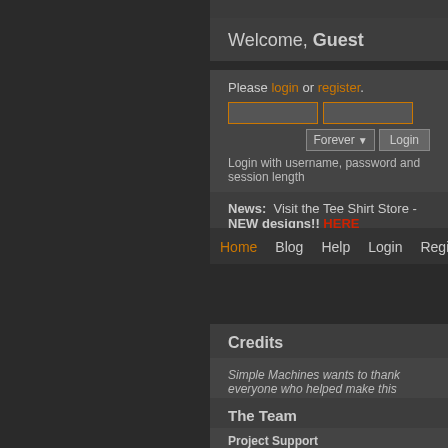Welcome, Guest
Please login or register. Login with username, password and session length
News: Visit the Tee Shirt Store - NEW designs!! HERE
Home Blog Help Login Register
Credits
Simple Machines wants to thank everyone who helped make this possible without you. This includes our users and especially their opinions.
The Team
Project Support
Michele "Illori" Davis, Jessica "Suki" González, Will "
Developers
Jon "Sesquipedalian" Stovell, John "live627" Rayes, emanuele, Hendrik Jan "Compuart" Visser, Juan "Jay" Miller, Salman "ISiNaN" Eser, Theodore "Orc"